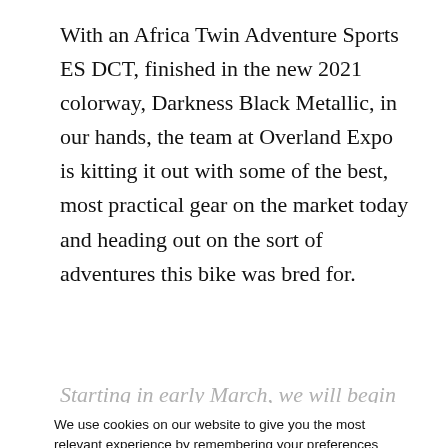With an Africa Twin Adventure Sports ES DCT, finished in the new 2021 colorway, Darkness Black Metallic, in our hands, the team at Overland Expo is kitting it out with some of the best, most practical gear on the market today and heading out on the sort of adventures this bike was bred for.
Starting in early March, we will begin the process...
We use cookies on our website to give you the most relevant experience by remembering your preferences and repeat visits. By clicking “Accept”, you consent to the use of ALL the cookies.
Do not sell my personal information.
Cookie Settings
ACCEPT